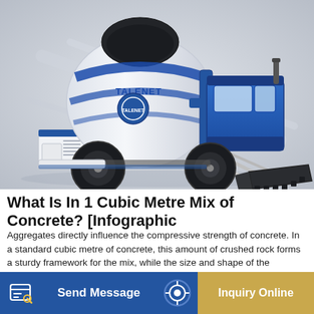[Figure (photo): A white and blue TALENET self-loading concrete mixer truck on a light grey background. The truck has a rotating drum mixer branded with TALENET logo, large black tires, an operator cab, and a front loading bucket/shovel attachment.]
What Is In 1 Cubic Metre Mix of Concrete? [Infographic
Aggregates directly influence the compressive strength of concrete. In a standard cubic metre of concrete, this amount of crushed rock forms a sturdy framework for the mix, while the size and shape of the aggregates will influence workability.
m 3 c
d + 120